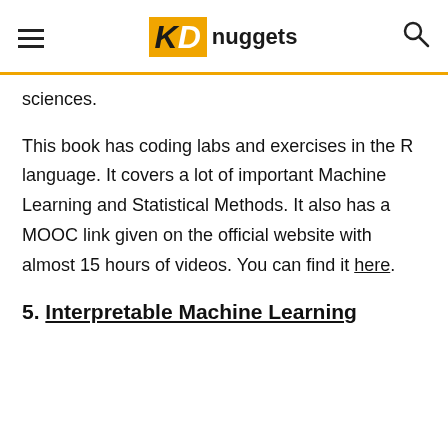KD nuggets
sciences.
This book has coding labs and exercises in the R language. It covers a lot of important Machine Learning and Statistical Methods. It also has a MOOC link given on the official website with almost 15 hours of videos. You can find it here.
5. Interpretable Machine Learning